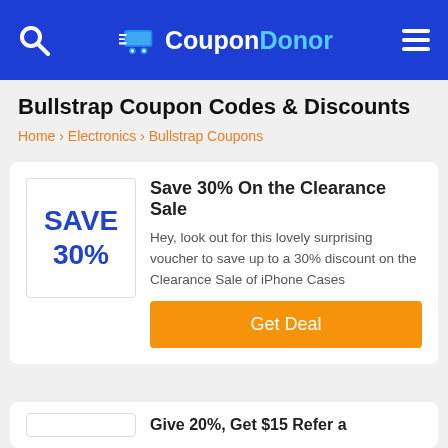CouponDonor
Bullstrap Coupon Codes & Discounts
Home › Electronics › Bullstrap Coupons
Save 30% On the Clearance Sale
Hey, look out for this lovely surprising voucher to save up to a 30% discount on the Clearance Sale of iPhone Cases
Get Deal
Give 20%, Get $15 Refer a